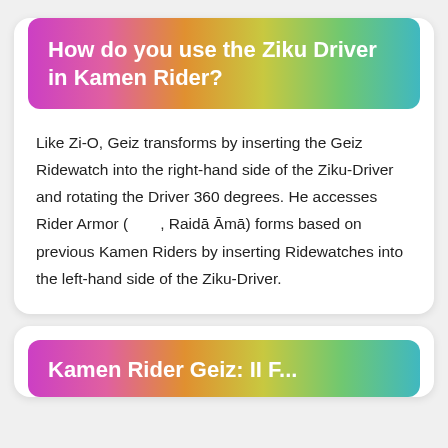How do you use the Ziku Driver in Kamen Rider?
Like Zi-O, Geiz transforms by inserting the Geiz Ridewatch into the right-hand side of the Ziku-Driver and rotating the Driver 360 degrees. He accesses Rider Armor (　　, Raidā Āmā) forms based on previous Kamen Riders by inserting Ridewatches into the left-hand side of the Ziku-Driver.
Kamen Rider Geiz: II F...